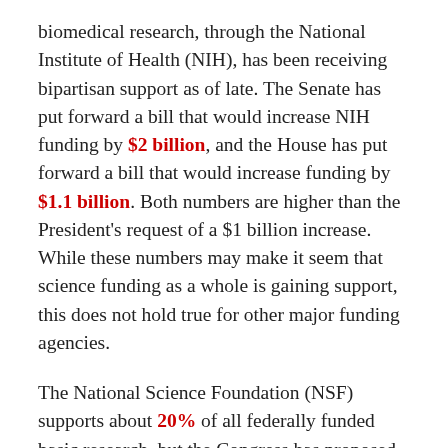biomedical research, through the National Institute of Health (NIH), has been receiving bipartisan support as of late.  The Senate has put forward a bill that would increase NIH funding by $2 billion, and the House has put forward a bill that would increase funding by $1.1 billion.  Both numbers are higher than the President's request of a $1 billion increase.  While these numbers may make it seem that science funding as a whole is gaining support, this does not hold true for other major funding agencies.
The National Science Foundation (NSF) supports about 20% of all federally funded basic research, but the Congress has proposed to fund it at a level $329 million below the President's budget request.  This would result in about 600 fewer grants – affecting about 7,900 researchers.  While basic research may not have the defined goals of biomedical research, it is not any less important.  In fact, basic research supported by NSF led